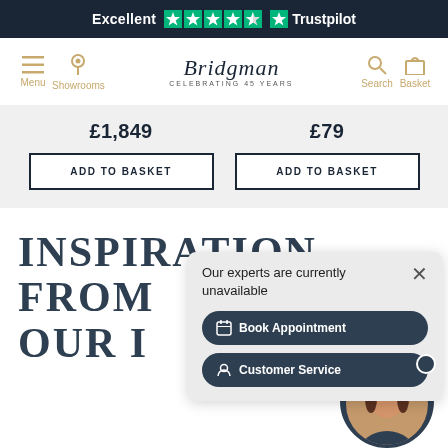Excellent ★★★★★ Trustpilot
[Figure (screenshot): Bridgman website navigation bar with Menu, Showrooms, logo, Search, and Basket icons]
£1,849
£79
ADD TO BASKET
ADD TO BASKET
INSPIRATION FROM OUR I
Our experts are currently unavailable
Book Appointment
Customer Service